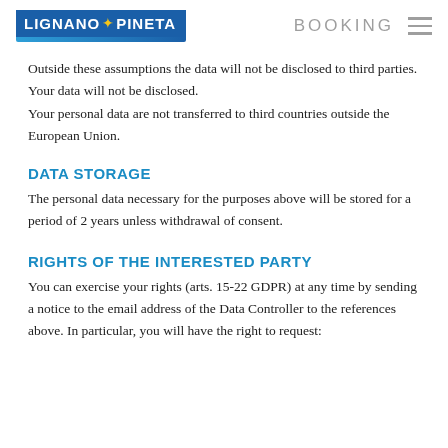LIGNANO PINETA | BOOKING
Outside these assumptions the data will not be disclosed to third parties. Your data will not be disclosed.
Your personal data are not transferred to third countries outside the European Union.
DATA STORAGE
The personal data necessary for the purposes above will be stored for a period of 2 years unless withdrawal of consent.
RIGHTS OF THE INTERESTED PARTY
You can exercise your rights (arts. 15-22 GDPR) at any time by sending a notice to the email address of the Data Controller to the references above. In particular, you will have the right to request: